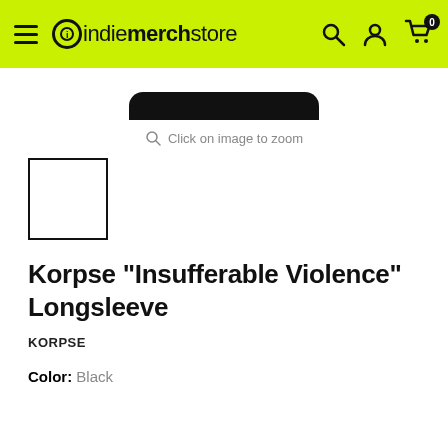indiemerchstore
[Figure (photo): Partial product image — bottom of a black rounded-rectangle shape (top of a t-shirt or packaging), cropped at top]
Click on image to zoom
[Figure (photo): Small white thumbnail image with black border, showing an empty/white product image placeholder]
Korpse "Insufferable Violence" Longsleeve
KORPSE
Color: Black